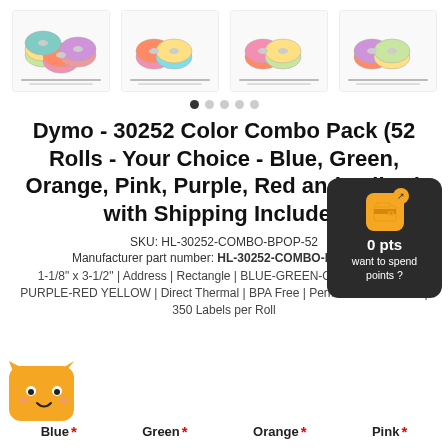[Figure (photo): Four groups of colorful label rolls (Dymo 30252) shown as product images in a horizontal row]
[Figure (infographic): Navigation dots (5 dots, first one active/dark)]
Dymo - 30252 Color Combo Pack (52 Rolls - Your Choice - Blue, Green, Orange, Pink, Purple, Red and Yellow) with Shipping Included
[Figure (infographic): Dark wallet overlay popup showing wallet icon, 0 pts, want to spend points?]
SKU: HL-30252-COMBO-BPOP-52
Manufacturer part number: HL-30252-COMBO-BPOP-52
1-1/8" x 3-1/2" | Address | Rectangle | BLUE-GREEN-ORANGE-PINK-PURPLE-RED YELLOW | Direct Thermal | BPA Free | Permanent-Adhesive | 350 Labels per Roll
[Figure (illustration): Yellow cat mascot emoji-style icon at bottom left]
Blue *
Green *
Orange *
Pink *